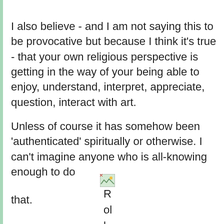I also believe - and I am not saying this to be provocative but because I think it's true - that your own religious perspective is getting in the way of your being able to enjoy, understand, interpret, appreciate, question, interact with art.
Unless of course it has somehow been 'authenticated' spiritually or otherwise. I can't imagine anyone who is all-knowing enough to do
[Figure (illustration): Broken image icon (thumbnail placeholder) with landscape image symbol]
R
ol
l
E
y
e
s
that.